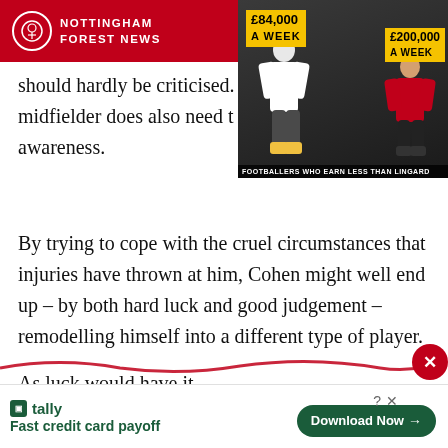NOTTINGHAM FOREST NEWS
[Figure (screenshot): Advertisement thumbnail showing two footballers with text '£84,000 A WEEK' and '£200,000 A WEEK' and caption 'FOOTBALLERS WHO EARN LESS THAN LINGARD']
should hardly be criticised. midfielder does also need t awareness.
By trying to cope with the cruel circumstances that injuries have thrown at him, Cohen might well end up – by both hard luck and good judgement – remodelling himself into a different type of player.
As luck would have it – and boy does Cohen deserve some – the sort of player Cohen might the type of player
[Figure (screenshot): Bottom advertisement bar for Tally app: 'Fast credit card payoff' with 'Download Now' button]